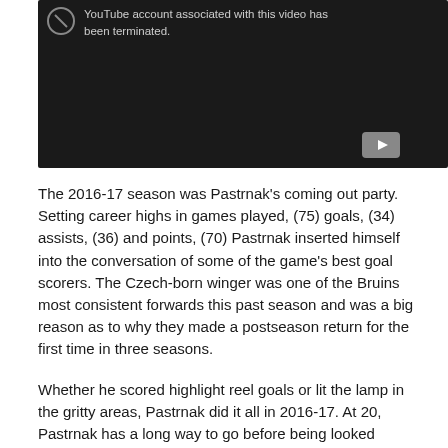[Figure (screenshot): YouTube video embed showing error message: 'YouTube account associated with this video has been terminated.' Dark background with YouTube play button icon in bottom-right corner.]
The 2016-17 season was Pastrnak's coming out party. Setting career highs in games played, (75) goals, (34) assists, (36) and points, (70) Pastrnak inserted himself into the conversation of some of the game's best goal scorers. The Czech-born winger was one of the Bruins most consistent forwards this past season and was a big reason as to why they made a postseason return for the first time in three seasons.
Whether he scored highlight reel goals or lit the lamp in the gritty areas, Pastrnak did it all in 2016-17. At 20, Pastrnak has a long way to go before being looked